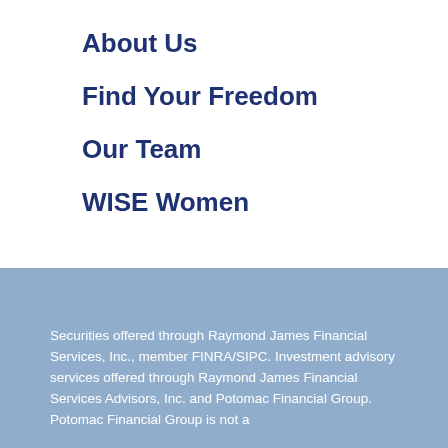About Us
Find Your Freedom
Our Team
WISE Women
Securities offered through Raymond James Financial Services, Inc., member FINRA/SIPC. Investment advisory services offered through Raymond James Financial Services Advisors, Inc. and Potomac Financial Group. Potomac Financial Group is not a